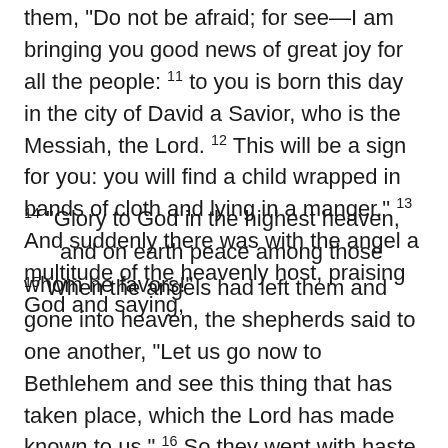them, "Do not be afraid; for see—I am bringing you good news of great joy for all the people: 11 to you is born this day in the city of David a Savior, who is the Messiah, the Lord. 12 This will be a sign for you: you will find a child wrapped in bands of cloth and lying in a manger." 13 And suddenly there was with the angel a multitude of the heavenly host, praising God and saying,
14 "Glory to God in the highest heaven, and on earth peace among those whom he favors!"
15 When the angels had left them and gone into heaven, the shepherds said to one another, "Let us go now to Bethlehem and see this thing that has taken place, which the Lord has made known to us." 16 So they went with haste and found Mary and Joseph, and the child lying in the manger. 17 When they saw this, they made known what had been told them about this child; 18 and all who heard it were amazed at what the shepherds told them. 19 But Mary treasured all these words